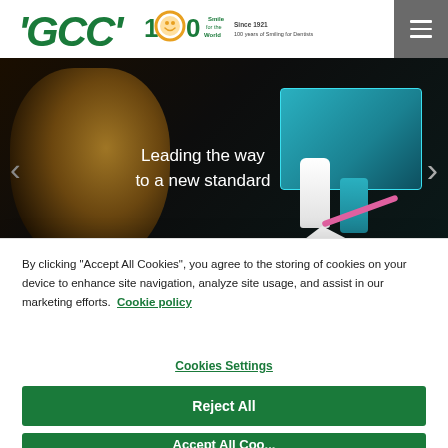GCC / 100 Smile for the World — Since 1921 — 100 years of Smiling for Dentists
[Figure (screenshot): Hero banner with dark background showing a golden-toned face on the left, dental product kit on the right, text reads 'Leading the way to a new standard']
By clicking "Accept All Cookies", you agree to the storing of cookies on your device to enhance site navigation, analyze site usage, and assist in our marketing efforts. Cookie policy
Cookies Settings
Reject All
Accept All Cookies